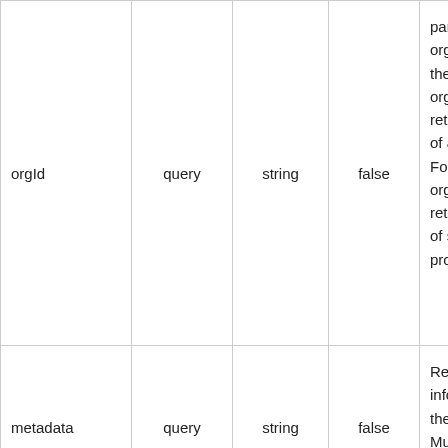| Name | In | Type | Required | Description |
| --- | --- | --- | --- | --- |
| orgId | query | string | false | particular organization. For the token's organization, it retrieves the list of all products. For a public organization it retrieves the list of shared products. |
| metadata | query | string | false | Retrieve information by their metadata. Must be passed in as a stringified JSON. |